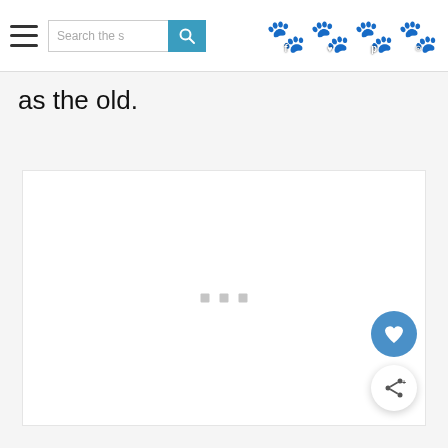Search the s [search bar] [paw icons: f, heart, p, camera]
as the old.
[Figure (screenshot): White content area/panel with three small grey square dots centered near the middle, representing a loading or placeholder state. Floating action buttons visible: a blue circular heart button and a white circular share button in the bottom-right corner.]